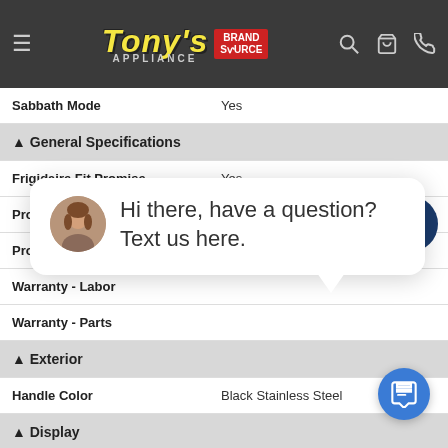Tony's Appliance Brand Source
| Attribute | Value |
| --- | --- |
| Sabbath Mode | Yes |
| General Specifications |  |
| Frigidaire Fit Promise | Yes |
| Product Weight | 133 lbs |
| Prop 65 Label | No |
| Warranty - Labor |  |
| Warranty - Parts |  |
| Exterior |  |
| Handle Color | Black Stainless Steel |
| Display |  |
| Display Type | Membrane |
[Figure (other): Chat widget bubble with avatar: 'Hi there, have a question? Text us here.']